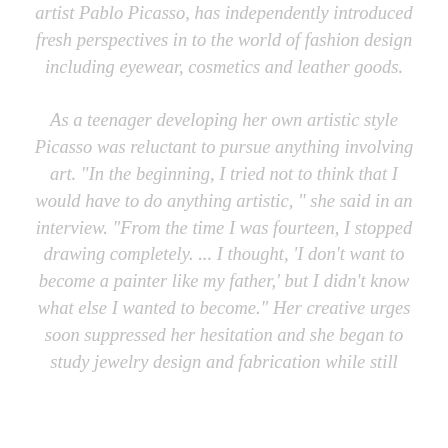artist Pablo Picasso, has independently introduced fresh perspectives in to the world of fashion design including eyewear, cosmetics and leather goods.

As a teenager developing her own artistic style Picasso was reluctant to pursue anything involving art. "In the beginning, I tried not to think that I would have to do anything artistic, " she said in an interview. "From the time I was fourteen, I stopped drawing completely. ... I thought, 'I don't want to become a painter like my father,' but I didn't know what else I wanted to become." Her creative urges soon suppressed her hesitation and she began to study jewelry design and fabrication while still